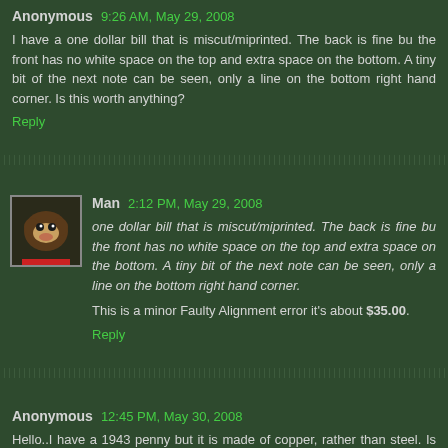Anonymous  9:26 AM, May 29, 2008
I have a one dollar bill that is miscut/miprinted. The back is fine bu the front has no white space on the top and extra space on the bottom. A tiny bit of the next note can be seen, only a line on the bottom right hand corner. Is this worth anything?
Reply
Man  2:12 PM, May 29, 2008
one dollar bill that is miscut/miprinted. The back is fine bu the front has no white space on the top and extra space on the bottom. A tiny bit of the next note can be seen, only a line on the bottom right hand corner.
This is a minor Faulty Alignment error it's about $35.00.
Reply
Anonymous  12:45 PM, May 30, 2008
Hello..I have a 1943 penny but it is made of copper, rather than steel. Is this a fake??
Reply